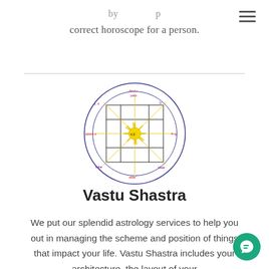correct horoscope for a person.
[Figure (illustration): A circular Vastu Shastra / horoscope chart diagram with a 3x3 grid inside a circle. The center has a sun-like yellow starburst. Various Sanskrit or astrological text labels appear in red, blue, and purple around the sections and border of the circle.]
Vastu Shastra
We put our splendid astrology services to help you out in managing the scheme and position of things that impact your life. Vastu Shastra includes your architecture, the layout of your